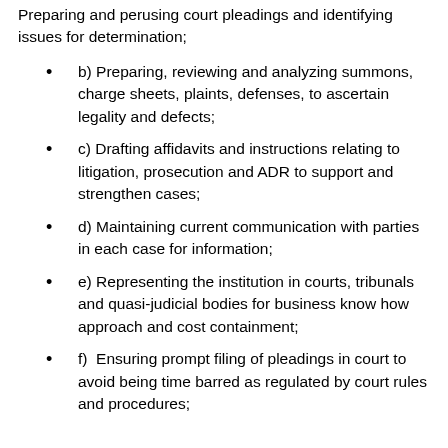Preparing and perusing court pleadings and identifying issues for determination;
b) Preparing, reviewing and analyzing summons, charge sheets, plaints, defenses, to ascertain legality and defects;
c) Drafting affidavits and instructions relating to litigation, prosecution and ADR to support and strengthen cases;
d) Maintaining current communication with parties in each case for information;
e) Representing the institution in courts, tribunals and quasi-judicial bodies for business know how approach and cost containment;
f)  Ensuring prompt filing of pleadings in court to avoid being time barred as regulated by court rules and procedures;